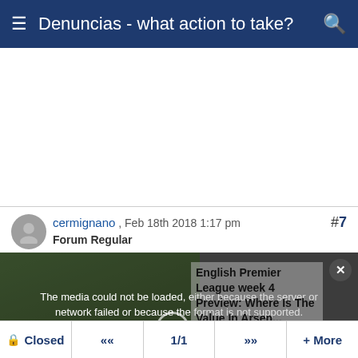Denuncias - what action to take?
[Figure (other): Advertisement area - blank white space]
#7
[Figure (other): User avatar - grey circle with silhouette]
cermignano , Feb 18th 2018 1:17 pm
Forum Regular
[Figure (other): Media player with error overlay. Left: football/soccer field image. Center overlay: The media could not be loaded, either because the server or network failed or because the format is not supported. Right side: English Premier League week 4 Preview: Where Is The Value In Arsen... Close button top right.]
Closed  <<  1/1  >>  + More